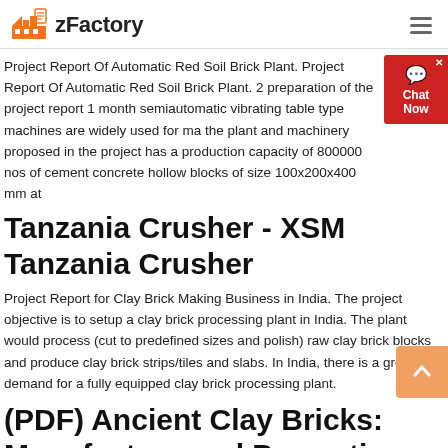zFactory
Project Report Of Automatic Red Soil Brick Plant. Project Report Of Automatic Red Soil Brick Plant. 2 preparation of the project report 1 month semiautomatic vibrating table type machines are widely used for ma the plant and machinery proposed in the project has a production capacity of 800000 nos of cement concrete hollow blocks of size 100x200x400 mm at
Tanzania Crusher - XSM Tanzania Crusher
Project Report for Clay Brick Making Business in India. The project objective is to setup a clay brick processing plant in India. The plant would process (cut to predefined sizes and polish) raw clay brick blocks and produce clay brick strips/tiles and slabs. In India, there is a great demand for a fully equipped clay brick processing plant.
(PDF) Ancient Clay Bricks: Manufacture and Properties